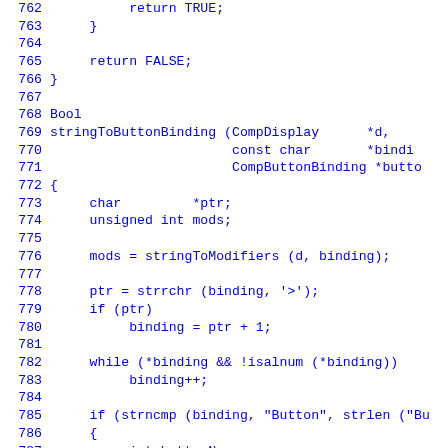[Figure (screenshot): Source code listing in blue monospace font on white background, showing lines 762-791 of a C function stringToButtonBinding. Line numbers are displayed in the left margin. The code includes return statements, function declaration, variable declarations, and control flow statements.]